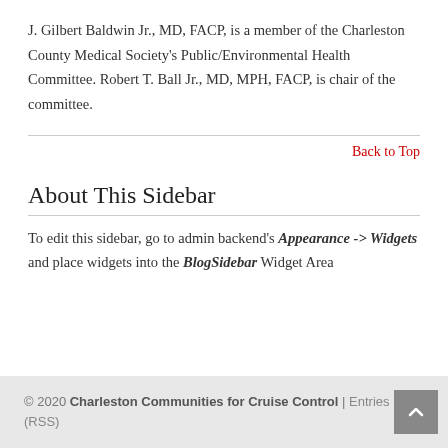J. Gilbert Baldwin Jr., MD, FACP, is a member of the Charleston County Medical Society's Public/Environmental Health Committee. Robert T. Ball Jr., MD, MPH, FACP, is chair of the committee.
Back to Top
About This Sidebar
To edit this sidebar, go to admin backend's Appearance -> Widgets and place widgets into the BlogSidebar Widget Area
© 2020 Charleston Communities for Cruise Control | Entries (RSS)